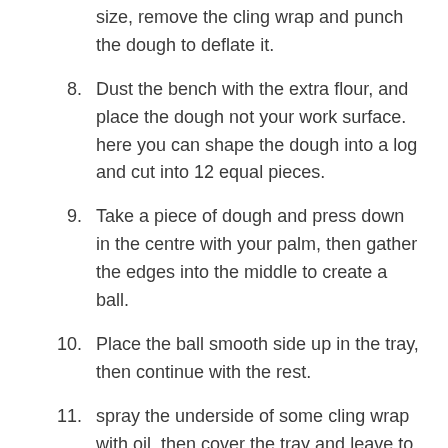size, remove the cling wrap and punch the dough to deflate it.
8. Dust the bench with the extra flour, and place the dough not your work surface. here you can shape the dough into a log and cut into 12 equal pieces.
9. Take a piece of dough and press down in the centre with your palm, then gather the edges into the middle to create a ball.
10. Place the ball smooth side up in the tray, then continue with the rest.
11. spray the underside of some cling wrap with oil, then cover the tray and leave to prise again for around 30 minutes. (should